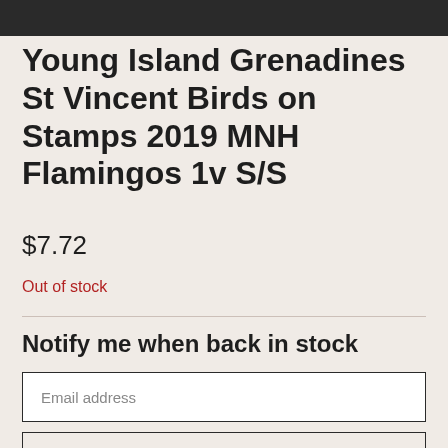[Figure (photo): Dark image strip at top of page, cropped stamp or product photo]
Young Island Grenadines St Vincent Birds on Stamps 2019 MNH Flamingos 1v S/S
$7.72
Out of stock
Notify me when back in stock
Email address
EMAIL ME WHEN AVAILABLE